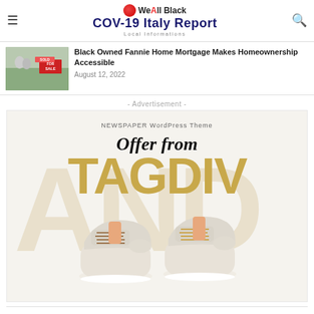COV-19 Italy Report | Local Informations
Black Owned Fannie Home Mortgage Makes Homeownership Accessible
August 12, 2022
- Advertisement -
[Figure (illustration): NEWSPAPER WordPress Theme advertisement for TAGDIV showing sneakers and large golden TAGDIV text with 'Offer from' overlay]